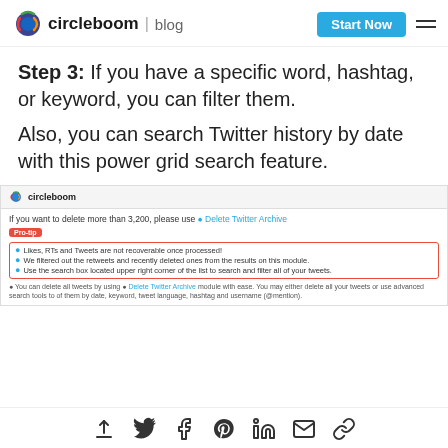circleboom | blog
Step 3: If you have a specific word, hashtag, or keyword, you can filter them.
Also, you can search Twitter history by date with this power grid search feature.
[Figure (screenshot): Circleboom interface screenshot showing delete tweet options with a Pro-tip box highlighting: Likes, RTs and Tweets are not recoverable once processed; We filtered out the retweets and recently deleted ones from the results on this module; Use the search box located upper right corner of the list to search and filter all of your tweets. Also text mentioning Delete Twitter Archive module.]
Share icons: upload, Twitter, Facebook, Pinterest, LinkedIn, email, link